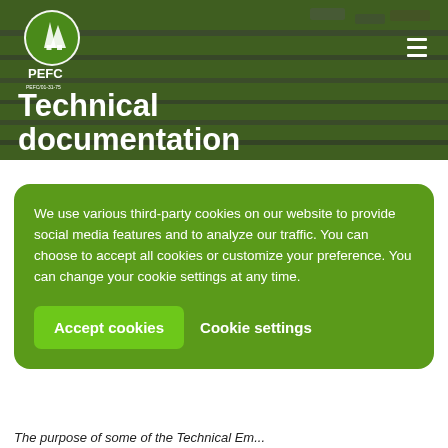[Figure (photo): Header banner with PEFC logo, hamburger menu icon, and title 'Technical documentation' over a background of filing folders with a green overlay tint. The folders image is desaturated/dark with a green color cast.]
Technical documentation
We use various third-party cookies on our website to provide social media features and to analyze our traffic. You can choose to accept all cookies or customize your preference. You can change your cookie settings at any time.
Accept cookies   Cookie settings
The purpose of some of the Technical Em...